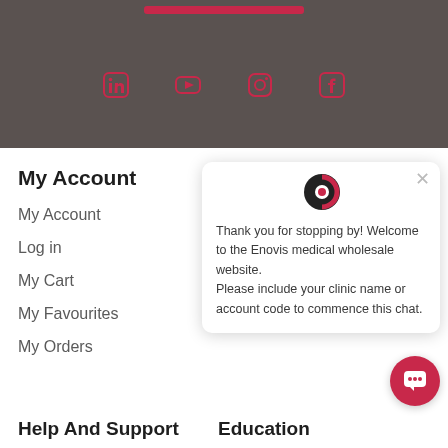[Figure (screenshot): Dark grey banner with a red bar at top and four social media icons (LinkedIn, YouTube, Instagram, Facebook) in crimson/dark red]
My Account
My Account
Log in
My Cart
My Favourites
My Orders
[Figure (screenshot): Chat popup with Enovis logo icon, close button, and message: Thank you for stopping by! Welcome to the Enovis medical wholesale website. Please include your clinic name or account code to commence this chat.]
Thank you for stopping by! Welcome to the Enovis medical wholesale website. Please include your clinic name or account code to commence this chat.
[Figure (screenshot): Red circular chat FAB button with speech bubble icon]
Help And Support
Education